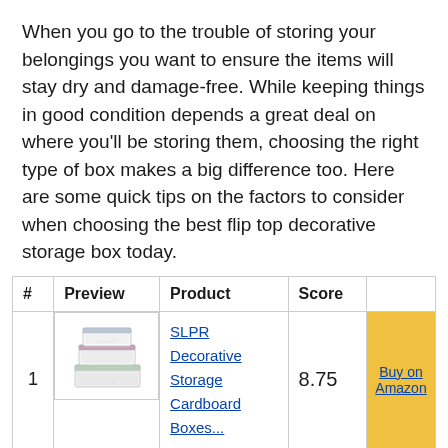When you go to the trouble of storing your belongings you want to ensure the items will stay dry and damage-free. While keeping things in good condition depends a great deal on where you'll be storing them, choosing the right type of box makes a big difference too. Here are some quick tips on the factors to consider when choosing the best flip top decorative storage box today.
| # | Preview | Product | Score |  |
| --- | --- | --- | --- | --- |
| 1 | [image] | SLPR Decorative Storage Cardboard Boxes... | 8.75 | Buy on Amazon |